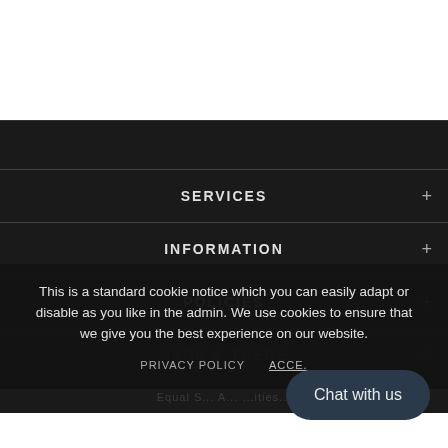SERVICES
INFORMATION
POLICIES
This is a standard cookie notice which you can easily adapt or disable as you like in the admin. We use cookies to ensure that we give you the best experience on our website.
PRIVACY POLICY   ACCE.
Chat with us